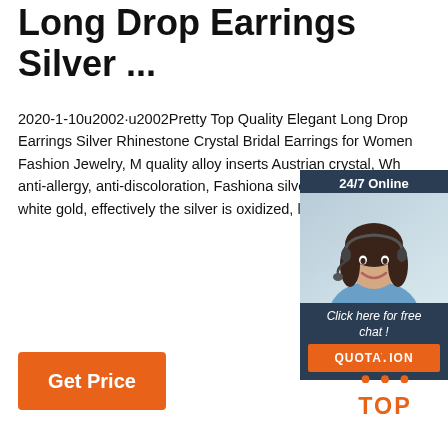Long Drop Earrings Silver ...
2020-1-10u2002·u2002Pretty Top Quality Elegant Long Drop Earrings Silver Rhinestone Crystal Bridal Earrings for Women Fashion Jewelry, M quality alloy inserts Austrian crystal, Wh anti-allergy, anti-discoloration, Fashiona silver outer plating white gold, effectively the silver is oxidized, luster are more las
[Figure (other): Chat widget with 24/7 Online agent photo, 'Click here for free chat!' text, and QUOTATION button]
[Figure (logo): TOP logo with dots arranged above the letters T-O-P in orange]
Get Price